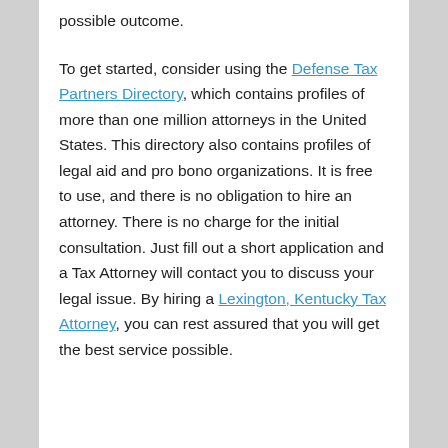possible outcome.

To get started, consider using the Defense Tax Partners Directory, which contains profiles of more than one million attorneys in the United States. This directory also contains profiles of legal aid and pro bono organizations. It is free to use, and there is no obligation to hire an attorney. There is no charge for the initial consultation. Just fill out a short application and a Tax Attorney will contact you to discuss your legal issue. By hiring a Lexington, Kentucky Tax Attorney, you can rest assured that you will get the best service possible.